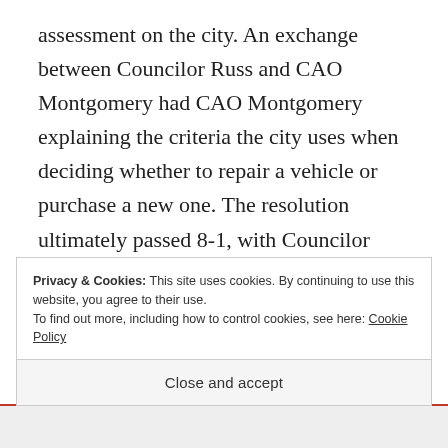assessment on the city. An exchange between Councilor Russ and CAO Montgomery had CAO Montgomery explaining the criteria the city uses when deciding whether to repair a vehicle or purchase a new one. The resolution ultimately passed 8-1, with Councilor Fosle providing the dissent.
The Council moved on to a resolution
Privacy & Cookies: This site uses cookies. By continuing to use this website, you agree to their use.
To find out more, including how to control cookies, see here: Cookie Policy
Close and accept